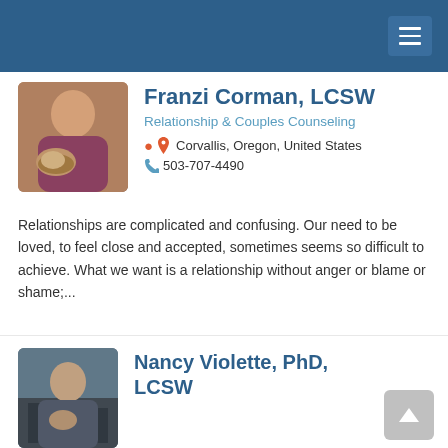[Figure (photo): Profile photo of Franzi Corman, showing a woman with glasses seated with a dog]
Franzi Corman, LCSW
Relationship & Couples Counseling
Corvallis, Oregon, United States
503-707-4490
Relationships are complicated and confusing. Our need to be loved, to feel close and accepted, sometimes seems so difficult to achieve. What we want is a relationship without anger or blame or shame;...
[Figure (photo): Profile photo of Nancy Violette, a woman in a library setting]
Nancy Violette, PhD, LCSW